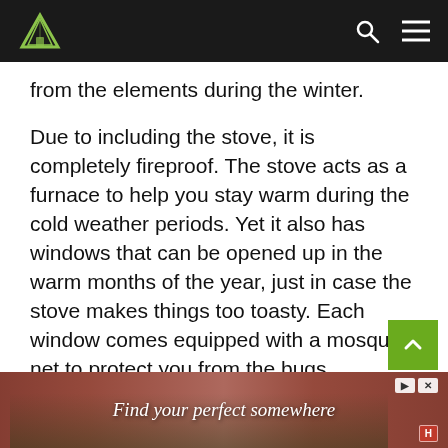[Logo] [Search icon] [Menu icon]
from the elements during the winter.
Due to including the stove, it is completely fireproof. The stove acts as a furnace to help you stay warm during the cold weather periods. Yet it also has windows that can be opened up in the warm months of the year, just in case the stove makes things too toasty. Each window comes equipped with a mosquito net to protect you from the bugs.
The tent is made with Oxford 240D material that keeps the thing entirely waterproof. They even include a waterproof floor th...
[Figure (screenshot): Advertisement banner: red background with outdoor/travel scene and text 'Find your perfect somewhere']